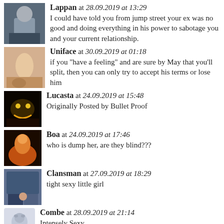Lappan at 28.09.2019 at 13:29 — I could have told you from jump street your ex was no good and doing everything in his power to sabotage you and your current relationship.
Uniface at 30.09.2019 at 01:18 — if you "have a feeling" and are sure by May that you'll split, then you can only try to accept his terms or lose him
Lucasta at 24.09.2019 at 15:48 — Originally Posted by Bullet Proof
Boa at 24.09.2019 at 17:46 — who is dump her, are they blind???
Clansman at 27.09.2019 at 18:29 — tight sexy little girl
Combe at 28.09.2019 at 21:14 — Intensely Sexy
Crinal at 22.09.2019 at 07:40